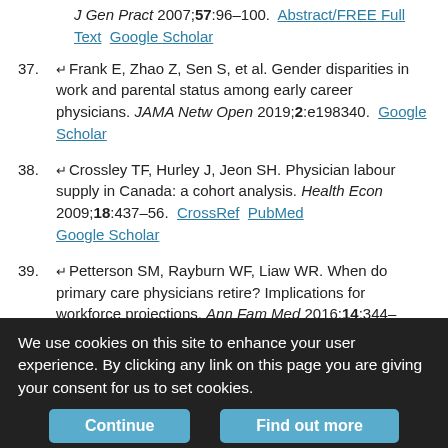J Gen Pract 2007;57:96–100. Abstract/FREE Full Text  Google Scholar
37. Frank E, Zhao Z, Sen S, et al. Gender disparities in work and parental status among early career physicians. JAMA Netw Open 2019;2:e198340. Google Scholar
38. Crossley TF, Hurley J, Jeon SH. Physician labour supply in Canada: a cohort analysis. Health Econ 2009;18:437–56. CrossRef PubMed Google Scholar
39. Petterson SM, Rayburn WF, Liaw WR. When do primary care physicians retire? Implications for workforce projections. Ann Fam Med 2016;14:344–9. Abstract/FREE Full Text Google Scholar
40. O'Connor MI. Medical school experiences shape women students' interest in orthopaedic surgery. Clin Orthop Relat Res 2016;474:1967–72. Google Scholar
We use cookies on this site to enhance your user experience. By clicking any link on this page you are giving your consent for us to set cookies.